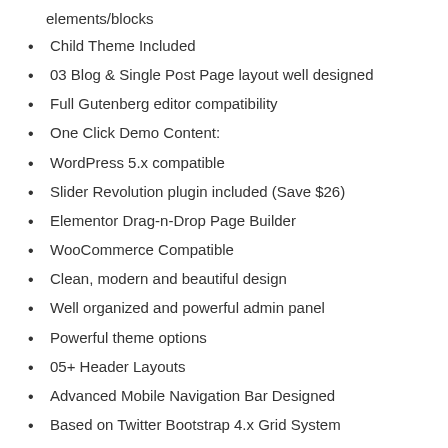elements/blocks
Child Theme Included
03 Blog & Single Post Page layout well designed
Full Gutenberg editor compatibility
One Click Demo Content:
WordPress 5.x compatible
Slider Revolution plugin included (Save $26)
Elementor Drag-n-Drop Page Builder
WooCommerce Compatible
Clean, modern and beautiful design
Well organized and powerful admin panel
Powerful theme options
05+ Header Layouts
Advanced Mobile Navigation Bar Designed
Based on Twitter Bootstrap 4.x Grid System
Responsive & retina ready
Contact Form 7 integrated
Mailchimp integrated
Google Fonts